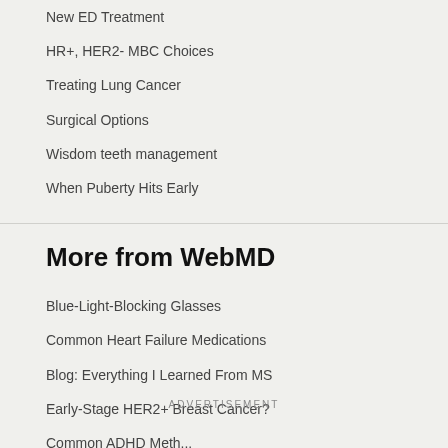New ED Treatment
HR+, HER2- MBC Choices
Treating Lung Cancer
Surgical Options
Wisdom teeth management
When Puberty Hits Early
More from WebMD
Blue-Light-Blocking Glasses
Common Heart Failure Medications
Blog: Everything I Learned From MS
Early-Stage HER2+ Breast Cancer?
Common ADHD Meth...
ADVERTISEMENT